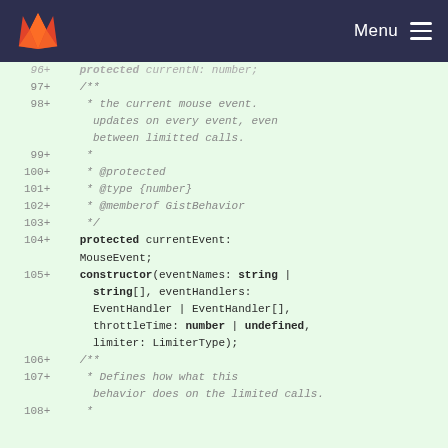Menu
[Figure (screenshot): GitLab code diff view showing lines 96-108 of a TypeScript class with JSDoc comments and class member/constructor definitions on a green highlighted background.]